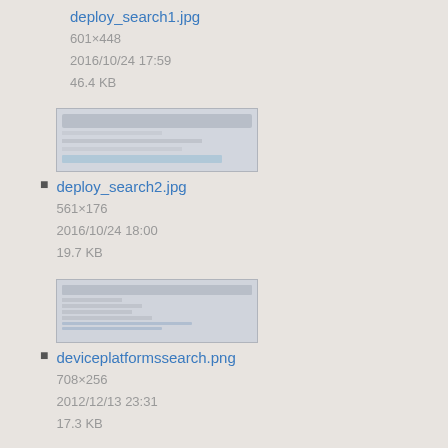deploy_search1.jpg
601×448
2016/10/24 17:59
46.4 KB
deploy_search2.jpg
561×176
2016/10/24 18:00
19.7 KB
deviceplatformssearch.png
708×256
2012/12/13 23:31
17.3 KB
downloadsoftwarepage.png
1271×641
2013/06/05 23:05